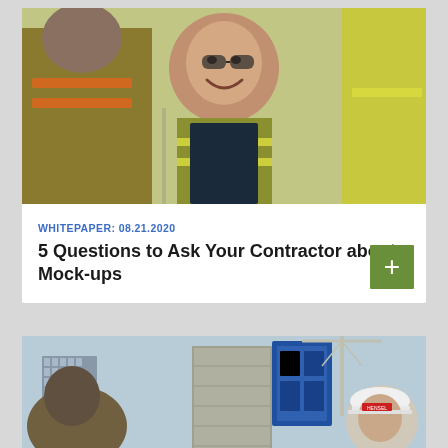[Figure (photo): Construction workers in yellow safety vests smiling and talking on a job site]
WHITEPAPER: 08.21.2020
5 Questions to Ask Your Contractor about Mock-ups
[Figure (photo): Construction site with crane, concrete building structure, blue equipment and worker wearing white hard hat]